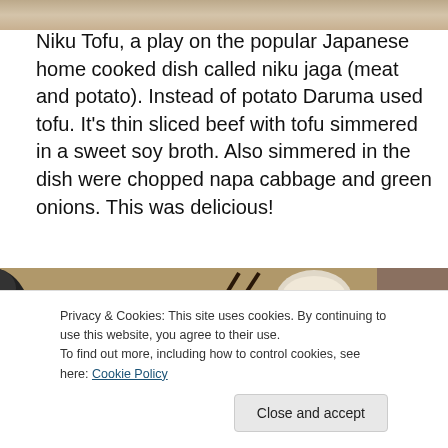[Figure (photo): Top portion of a food photo, cropped at the top of the page]
Niku Tofu, a play on the popular Japanese home cooked dish called niku jaga (meat and potato). Instead of potato Daruma used tofu. It's thin sliced beef with tofu simmered in a sweet soy broth. Also simmered in the dish were chopped napa cabbage and green onions. This was delicious!
[Figure (photo): Photo of a Japanese dish in a dark cast iron pan with chopsticks, tofu, and simmered beef in broth, with small sauce dishes visible in background]
Privacy & Cookies: This site uses cookies. By continuing to use this website, you agree to their use.
To find out more, including how to control cookies, see here: Cookie Policy